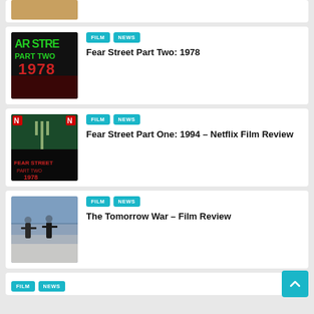[Figure (photo): Partial top card with a cropped image (appears to be a person's face against a golden/warm background)]
FILM | NEWS
Fear Street Part Two: 1978
[Figure (photo): Movie poster thumbnail for Fear Street Part Two 1978 — green dripping text on dark background]
FILM | NEWS
Fear Street Part One: 1994 – Netflix Film Review
[Figure (photo): Movie poster thumbnail for Fear Street Part One 1994 — two figures with pitchfork against dark teal/green background with Netflix logo]
FILM | NEWS
The Tomorrow War – Film Review
[Figure (photo): Movie thumbnail for The Tomorrow War — two soldier silhouettes in misty/dusty battlefield environment]
FILM | NEWS